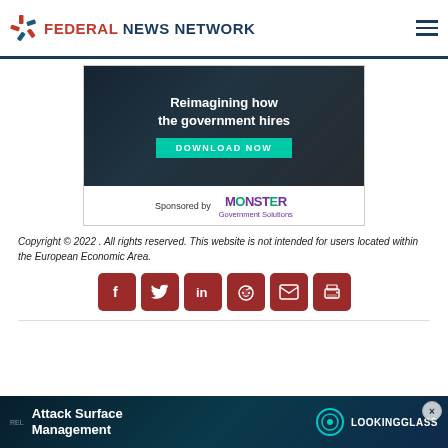Federal News Network
[Figure (infographic): Advertisement banner: 'Reimagining how the government hires' with a teal Download Now button, sponsored by Monster Government Solutions]
Copyright © 2022 . All rights reserved. This website is not intended for users located within the European Economic Area.
[Figure (infographic): Social sharing icons row: Facebook, Twitter, LinkedIn, Reddit, Email, Print — all in dark red square buttons]
[Figure (infographic): Bottom advertisement banner: 'Attack Surface Management' with LookingGlass logo]